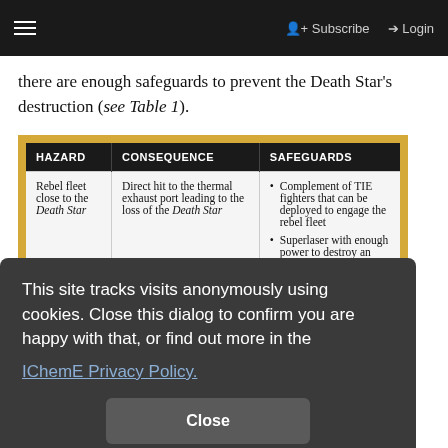☰  Subscribe  Login
there are enough safeguards to prevent the Death Star's destruction (see Table 1).
| HAZARD | CONSEQUENCE | SAFEGUARDS |
| --- | --- | --- |
| Rebel fleet close to the Death Star | Direct hit to the thermal exhaust port leading to the loss of the Death Star | • Complement of TIE fighters that can be deployed to engage the rebel fleet
• Superlaser with enough power to destroy an entire planet |
This site tracks visits anonymously using cookies. Close this dialog to confirm you are happy with that, or find out more in the IChemE Privacy Policy.